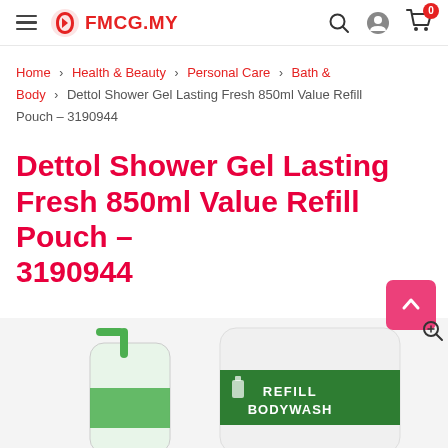FMCG.MY — navigation bar with hamburger menu, logo, search, account, cart (0 items)
Home > Health & Beauty > Personal Care > Bath & Body > Dettol Shower Gel Lasting Fresh 850ml Value Refill Pouch – 3190944
Dettol Shower Gel Lasting Fresh 850ml Value Refill Pouch – 3190944
[Figure (photo): Dettol Shower Gel Lasting Fresh 850ml Value Refill Pouch product image showing green pump bottle and a refill bodywash pouch with green label]